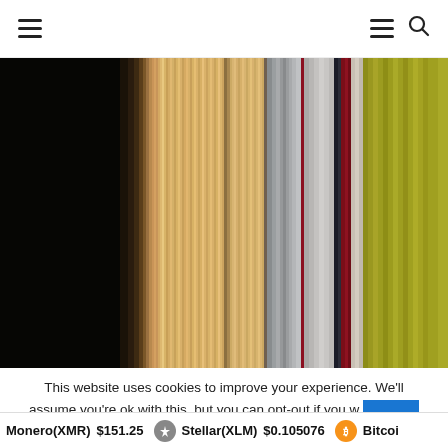Navigation header with hamburger menu and search icon
[Figure (illustration): Abstract vertical stripes image with colors ranging from black on the left through browns, tans, beiges, grays, steel blues, reds, and olive/yellow on the right]
This website uses cookies to improve your experience. We'll assume you're ok with this, but you can opt-out if you w
Monero(XMR) $151.25   Stellar(XLM) $0.105076   Bitcoin